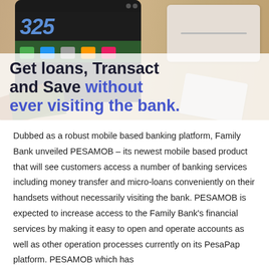[Figure (photo): Advertisement image showing a smartphone displaying a number (325) on a green screen, surrounded by currency bills and bank cards on a wooden surface background. Overlay text reads: Get loans, Transact and Save without ever visiting the bank.]
Dubbed as a robust mobile based banking platform, Family Bank unveiled PESAMOB – its newest mobile based product that will see customers access a number of banking services including money transfer and micro-loans conveniently on their handsets without necessarily visiting the bank. PESAMOB is expected to increase access to the Family Bank's financial services by making it easy to open and operate accounts as well as other operation processes currently on its PesaPap platform. PESAMOB which has